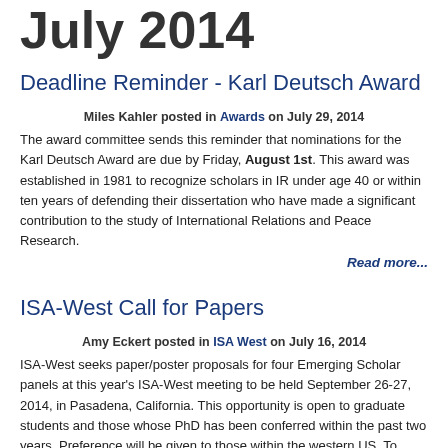July 2014
Deadline Reminder - Karl Deutsch Award
Miles Kahler posted in Awards on July 29, 2014
The award committee sends this reminder that nominations for the Karl Deutsch Award are due by Friday, August 1st. This award was established in 1981 to recognize scholars in IR under age 40 or within ten years of defending their dissertation who have made a significant contribution to the study of International Relations and Peace Research.
Read more...
ISA-West Call for Papers
Amy Eckert posted in ISA West on July 16, 2014
ISA-West seeks paper/poster proposals for four Emerging Scholar panels at this year's ISA-West meeting to be held September 26-27, 2014, in Pasadena, California. This opportunity is open to graduate students and those whose PhD has been conferred within the past two years. Preference will be given to those within the western US. To apply for participation in an Emerging Scholar panel, send an abstract of 150